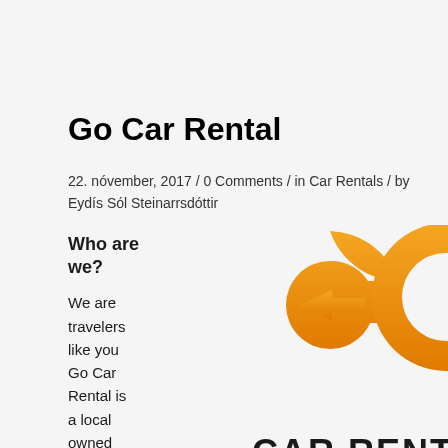Go Car Rental
22. nóvember, 2017 / 0 Comments / in Car Rentals / by Eydís Sól Steinarrsdóttir
Who are we?
We are travelers like you Go Car Rental is a local owned business
[Figure (logo): Go Car Rental logo: large orange stylized 'GO' letters with an arrow graphic, and 'CAR RENTAL' text below in black]